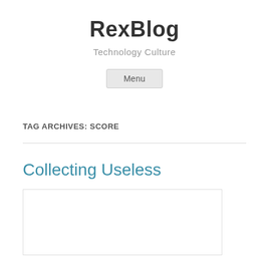RexBlog
Technology Culture
Menu
TAG ARCHIVES: SCORE
Collecting Useless
[Figure (other): Empty white image box with border, partially visible]